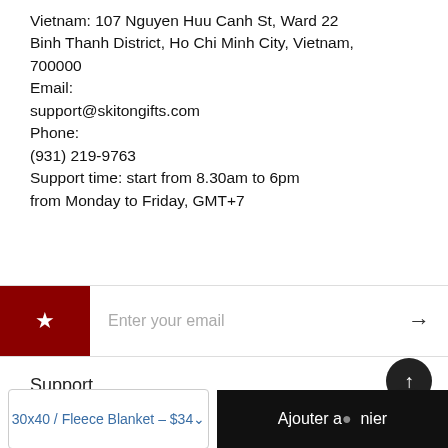Vietnam: 107 Nguyen Huu Canh St, Ward 22 Binh Thanh District, Ho Chi Minh City, Vietnam, 700000
Email:
support@skitongifts.com
Phone:
(931) 219-9763
Support time: start from 8.30am to 6pm from Monday to Friday, GMT+7
[Figure (other): Email subscription input row with red star icon box on left, 'Enter your email' placeholder text in center, and right arrow on right]
Support
[Figure (other): Scroll-to-top circular dark button with upward arrow, and a chat bubble circular dark button below it]
30x40 / Fleece Blanket - $34
Ajouter au panier